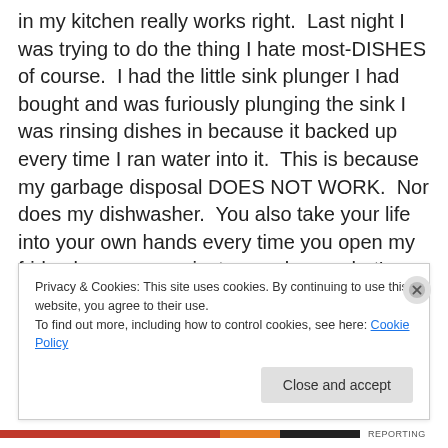in my kitchen really works right.  Last night I was trying to do the thing I hate most-DISHES of course.  I had the little sink plunger I had bought and was furiously plunging the sink I was rinsing dishes in because it backed up every time I ran water into it.  This is because my garbage disposal DOES NOT WORK.  Nor does my dishwasher.  You also take your life into your own hands every time you open my fridge because you just never know what's going to come out of it at you.  That's because there are multiple broken shelves and drawers in there.  Yeah, I could really use some appliance love right now.
Privacy & Cookies: This site uses cookies. By continuing to use this website, you agree to their use.
To find out more, including how to control cookies, see here: Cookie Policy
Close and accept